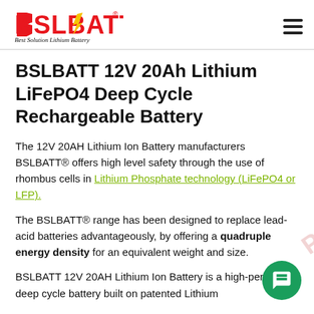[Figure (logo): BSLBATT logo with red stylized letters and tagline 'Best Solution Lithium Battery' in italic script]
BSLBATT 12V 20Ah Lithium LiFePO4 Deep Cycle Rechargeable Battery
The 12V 20AH Lithium Ion Battery manufacturers BSLBATT® offers high level safety through the use of rhombus cells in Lithium Phosphate technology (LiFePO4 or LFP).
The BSLBATT® range has been designed to replace lead-acid batteries advantageously, by offering a quadruple energy density for an equivalent weight and size.
BSLBATT 12V 20AH Lithium Ion Battery is a high-performing deep cycle battery built on patented Lithium